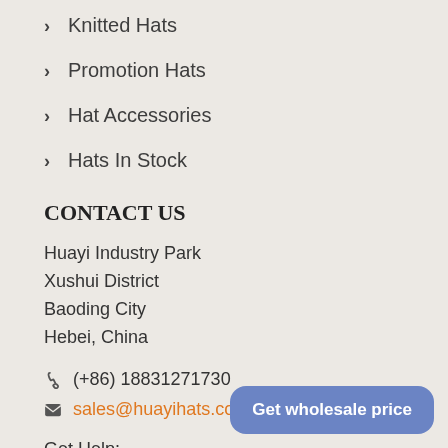Knitted Hats
Promotion Hats
Hat Accessories
Hats In Stock
CONTACT US
Huayi Industry Park
Xushui District
Baoding City
Hebei, China
(+86) 18831271730
sales@huayihats.com
Get Help:
mccormksilas@gmail.com